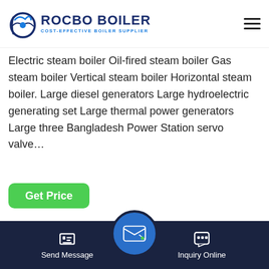[Figure (logo): Rocbo Boiler logo with circular icon and text 'ROCBO BOILER - COST-EFFECTIVE BOILER SUPPLIER' in navy blue]
Electric steam boiler Oil-fired steam boiler Gas steam boiler Vertical steam boiler Horizontal steam boiler. Large diesel generators Large hydroelectric generating set Large thermal power generators Large three Bangladesh Power Station servo valve…
Get Price
[Figure (photo): Industrial boiler room interior with red and yellow pipes, blue and white control panels, overhead pipe network on ceiling]
Send Message
Inquiry Online